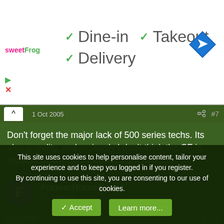[Figure (screenshot): Ad banner for sweetFrog showing Dine-in, Takeout, Delivery checkmarks and a navigation arrow icon]
1 Oct 2005  #7
Don't forget the major lack of 500 series techs. Its also a reality, and seriously I don't think the CF is capable of buying a new A/c right now.
FormerHorseGuard
Sr. Member
1 Oct 2005  #8
first off new combat jets are low on the purchase wish list, there
This site uses cookies to help personalise content, tailor your experience and to keep you logged in if you register.
By continuing to use this site, you are consenting to our use of cookies.